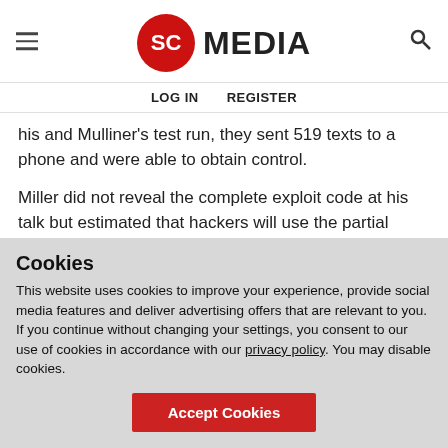SC MEDIA
LOG IN   REGISTER
his and Mulliner's test run, they sent 519 texts to a phone and were able to obtain control.
Miller did not reveal the complete exploit code at his talk but estimated that hackers will use the partial information he provided to develop working attack code within a couple of weeks.
Cookies
This website uses cookies to improve your experience, provide social media features and deliver advertising offers that are relevant to you. If you continue without changing your settings, you consent to our use of cookies in accordance with our privacy policy. You may disable cookies.
Accept Cookies